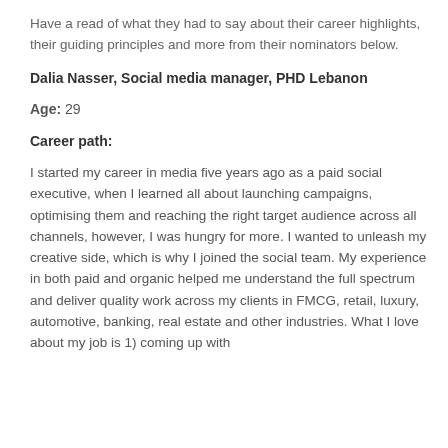Have a read of what they had to say about their career highlights, their guiding principles and more from their nominators below.
Dalia Nasser, Social media manager, PHD Lebanon
Age: 29
Career path:
I started my career in media five years ago as a paid social executive, when I learned all about launching campaigns, optimising them and reaching the right target audience across all channels, however, I was hungry for more. I wanted to unleash my creative side, which is why I joined the social team. My experience in both paid and organic helped me understand the full spectrum and deliver quality work across my clients in FMCG, retail, luxury, automotive, banking, real estate and other industries. What I love about my job is 1) coming up with